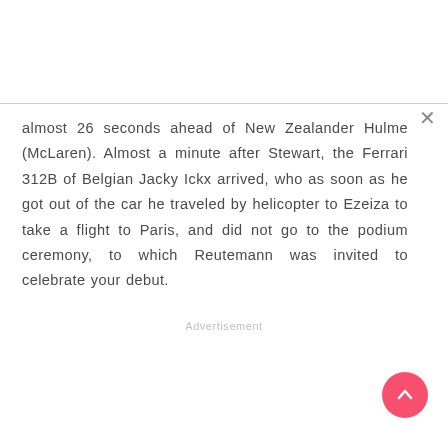almost 26 seconds ahead of New Zealander Hulme (McLaren). Almost a minute after Stewart, the Ferrari 312B of Belgian Jacky Ickx arrived, who as soon as he got out of the car he traveled by helicopter to Ezeiza to take a flight to Paris, and did not go to the podium ceremony, to which Reutemann was invited to celebrate your debut.
Advertisement